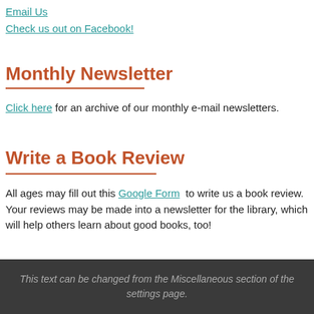Email Us
Check us out on Facebook!
Monthly Newsletter
Click here for an archive of our monthly e-mail newsletters.
Write a Book Review
All ages may fill out this Google Form to write us a book review. Your reviews may be made into a newsletter for the library, which will help others learn about good books, too!
This text can be changed from the Miscellaneous section of the settings page.